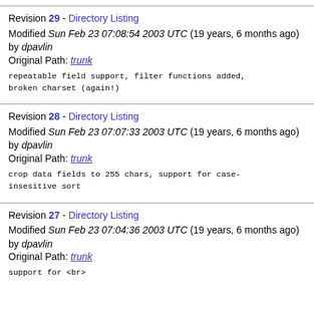Revision 29 - Directory Listing
Modified Sun Feb 23 07:08:54 2003 UTC (19 years, 6 months ago) by dpavlin
Original Path: trunk
repeatable field support, filter functions added,
broken charset (again!)
Revision 28 - Directory Listing
Modified Sun Feb 23 07:07:33 2003 UTC (19 years, 6 months ago) by dpavlin
Original Path: trunk
crop data fields to 255 chars, support for case-
insesitive sort
Revision 27 - Directory Listing
Modified Sun Feb 23 07:04:36 2003 UTC (19 years, 6 months ago) by dpavlin
Original Path: trunk
support for <br>